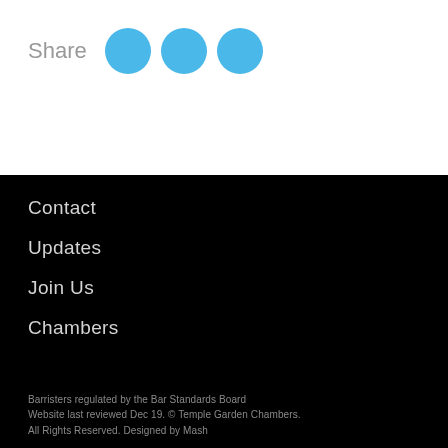Share
[Figure (other): Three blue circular social share buttons]
Contact
Updates
Join Us
Chambers
Barristers regulated by the Bar Standards Board
Website last reviewed Dec 19. © Temple Garden Chambers.
All Rights Reserved. Designed by Mash